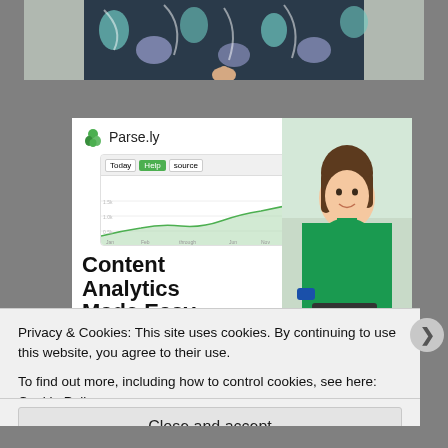[Figure (photo): Top portion of a person wearing a floral/patterned dress, cropped at mid-torso, holding something small. Background is light gray.]
[Figure (screenshot): Parse.ly advertisement banner showing the Parse.ly logo (green leaf icon and 'Parse.ly' text), a dashboard/analytics chart screenshot, the text 'Content Analytics Made Easy' in bold black, and a photo of a smiling woman in a green sweater on the right side.]
Privacy & Cookies: This site uses cookies. By continuing to use this website, you agree to their use.
To find out more, including how to control cookies, see here: Cookie Policy
Close and accept